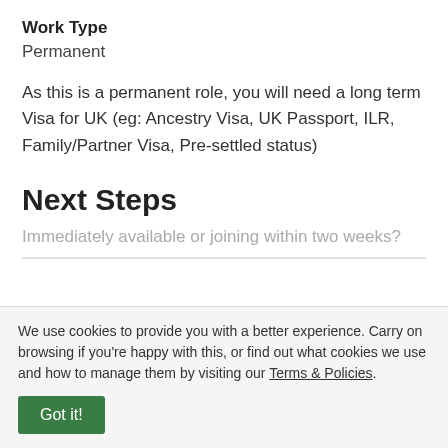Work Type
Permanent
As this is a permanent role, you will need a long term Visa for UK (eg: Ancestry Visa, UK Passport, ILR, Family/Partner Visa, Pre-settled status)
Next Steps
Immediately available or joining within two weeks?
We use cookies to provide you with a better experience. Carry on browsing if you're happy with this, or find out what cookies we use and how to manage them by visiting our Terms & Policies.
Got it!